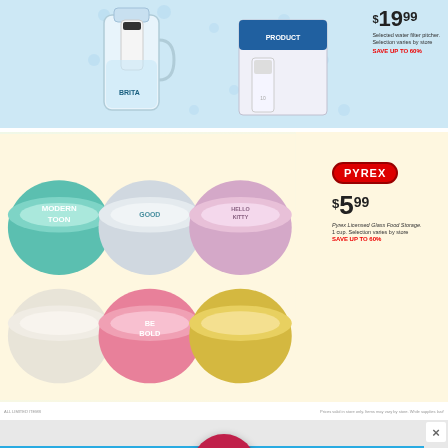[Figure (photo): Water filter pitcher and replacement filters product advertisement showing Brita-style pitcher with blue polka dot background. Price tag shows $19.99 with sale up to 60% off.]
[Figure (photo): Pyrex Licensed Glass Food Storage bowls with Disney/Hello Kitty/Modern designs shown in multiple colors (teal, blue, pink, white, yellow). Priced at $5.99 each. Sale up to 60% off. PYREX logo shown in red rounded rectangle.]
ALL PRICES UNLESS Prices valid in store only. Items may vary by store. While supplies last!
[Figure (photo): Grocery Outlet Bargain Market logo on orange swirling background with 25% OFF text visible at bottom. Shows 'See More »' call to action button.]
[Figure (screenshot): Advertisement close button (X) in white box on gray background, with teal/blue horizontal bar below.]